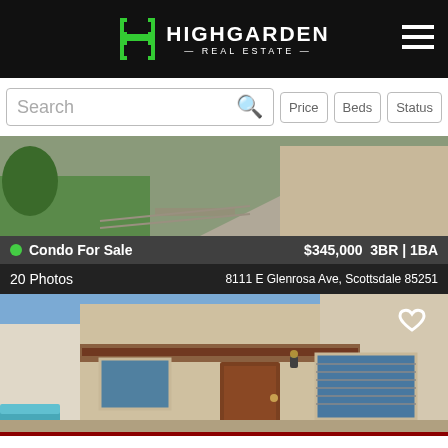[Figure (logo): Highgarden Real Estate logo with stylized H icon in green on black header bar]
Search | Price | Beds | Status
[Figure (photo): Exterior photo of condo property showing driveway, lawn, and building facade]
Condo For Sale  $345,000  3BR | 1BA
20 Photos  8111 E Glenrosa Ave, Scottsdale 85251
[Figure (photo): Exterior photo of townhouse/condo building showing front door and windows]
Call to Schedule a Showing
(480) 613-9411